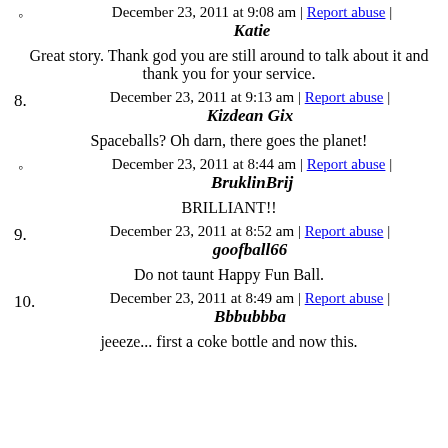December 23, 2011 at 9:08 am | Report abuse | Katie
Great story. Thank god you are still around to talk about it and thank you for your service.
8. December 23, 2011 at 9:13 am | Report abuse | Kizdean Gix
Spaceballs? Oh darn, there goes the planet!
December 23, 2011 at 8:44 am | Report abuse | BruklinBrij
BRILLIANT!!
9. December 23, 2011 at 8:52 am | Report abuse | goofball66
Do not taunt Happy Fun Ball.
10. December 23, 2011 at 8:49 am | Report abuse | Bbbubbba
jeeeze... first a coke bottle and now this.